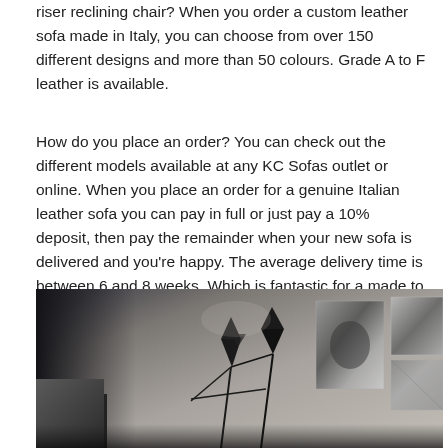riser reclining chair? When you order a custom leather sofa made in Italy, you can choose from over 150 different designs and more than 50 colours. Grade A to F leather is available.
How do you place an order? You can check out the different models available at any KC Sofas outlet or online. When you place an order for a genuine Italian leather sofa you can pay in full or just pay a 10% deposit, then pay the remainder when your new sofa is delivered and you're happy. The average delivery time is between 6 and 8 weeks. Which is fantastic for a made to order product with so many options.
[Figure (photo): Interior room photo showing a dark/neutral wall with abstract art panels on the right side and a black floor lamp with double cone shades in the center-left. Dark furniture partially visible on the left edge.]